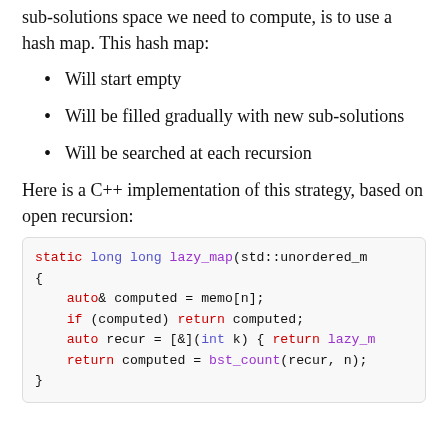sub-solutions space we need to compute, is to use a hash map. This hash map:
Will start empty
Will be filled gradually with new sub-solutions
Will be searched at each recursion
Here is a C++ implementation of this strategy, based on open recursion:
[Figure (screenshot): C++ code block showing static long long lazy_map function with memoization using unordered_map, auto& computed = memo[n], if (computed) return computed, auto recur = [&](int k) { return lazy_m, return computed = bst_count(recur, n);]